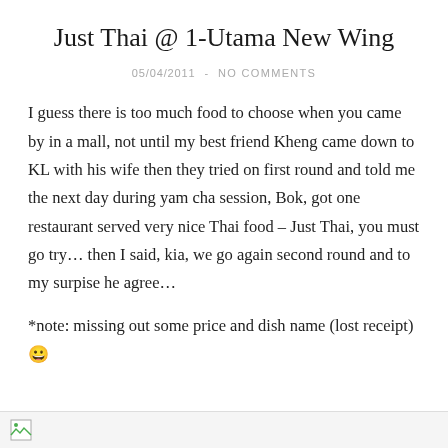Just Thai @ 1-Utama New Wing
05/04/2011  -  NO COMMENTS
I guess there is too much food to choose when you came by in a mall, not until my best friend Kheng came down to KL with his wife then they tried on first round and told me the next day during yam cha session, Bok, got one restaurant served very nice Thai food – Just Thai, you must go try… then I said, kia, we go again second round and to my surpise he agree…
*note: missing out some price and dish name (lost receipt) 😀
[Figure (photo): Partially visible image placeholder at the bottom of the page]